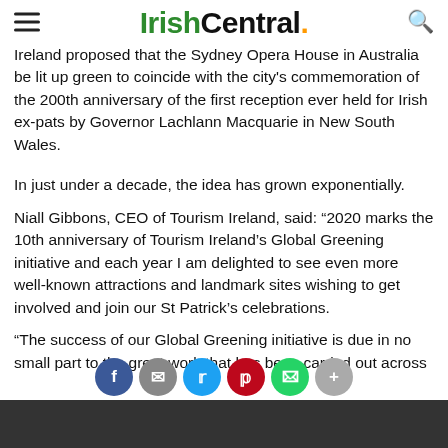IrishCentral.
Ireland proposed that the Sydney Opera House in Australia be lit up green to coincide with the city's commemoration of the 200th anniversary of the first reception ever held for Irish ex-pats by Governor Lachlann Macquarie in New South Wales.
In just under a decade, the idea has grown exponentially.
Niall Gibbons, CEO of Tourism Ireland, said: “2020 marks the 10th anniversary of Tourism Ireland’s Global Greening initiative and each year I am delighted to see even more well-known attractions and landmark sites wishing to get involved and join our St Patrick’s celebrations.
“The success of our Global Greening initiative is due in no small part to the great work that has been carried out across